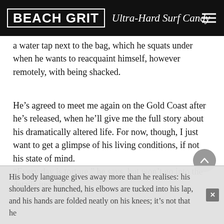BEACH GRIT Ultra-Hard Surf Candy
a water tap next to the bag, which he squats under when he wants to reacquaint himself, however remotely, with being shacked.
He’s agreed to meet me again on the Gold Coast after he’s released, when he’ll give me the full story about his dramatically altered life. For now, though, I just want to get a glimpse of his living conditions, if not his state of mind.
“Every day is torture,” he says, but won’t go into the details just yet.
His body language gives away more than he realises: his shoulders are hunched, his elbows are tucked into his lap, and his hands are folded neatly on his knees; it’s not that he